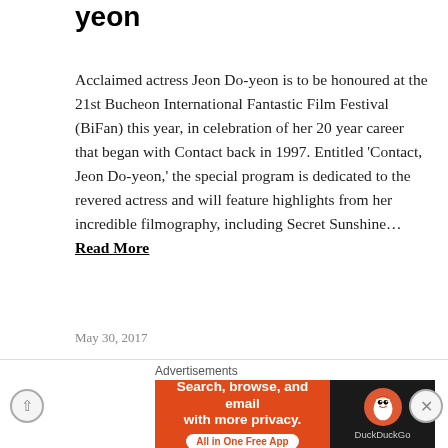yeon
Acclaimed actress Jeon Do-yeon is to be honoured at the 21st Bucheon International Fantastic Film Festival (BiFan) this year, in celebration of her 20 year career that began with Contact back in 1997. Entitled 'Contact, Jeon Do-yeon,' the special program is dedicated to the revered actress and will feature highlights from her incredible filmography, including Secret Sunshine… Read More
May 30, 2017
Q&A with director Kim Jong-Kwan – "There is something appealing in writing from the female point of view"
Director Kim Jong-Kwan is well-known to fans of independent Korean cinema. A graduate of the Seoul Institute of the Arts, his
[Figure (infographic): DuckDuckGo advertisement banner: orange left panel with text 'Search, browse, and email with more privacy. All in One Free App' and dark right panel with DuckDuckGo logo and name. Labeled 'Advertisements' above.]